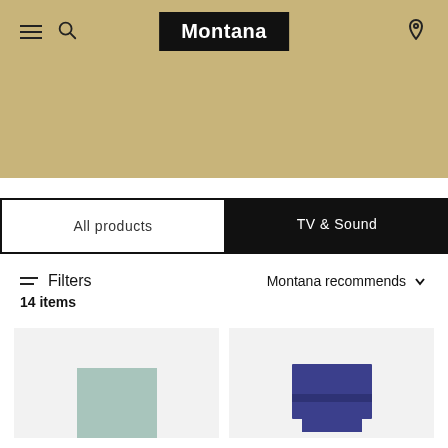[Figure (screenshot): Montana furniture e-commerce website header with tan/khaki hero background, navigation bar with hamburger menu, search icon, Montana logo in black box, and location pin icon]
All products
TV & Sound
Filters
Montana recommends
14 items
[Figure (photo): Light teal/mint colored furniture piece (cabinet/shelving unit) on light gray background]
[Figure (photo): Dark navy/blue colored furniture piece on light gray background]